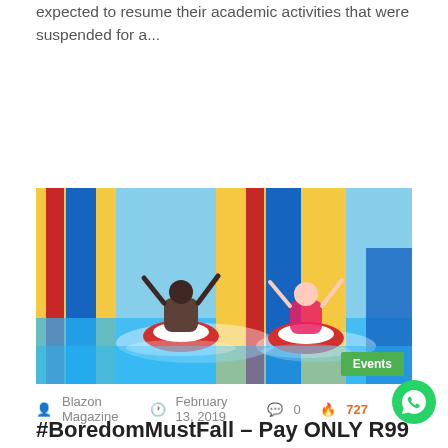expected to resume their academic activities that were suspended for a...
Read More »
[Figure (photo): Two people on red and white inflatable tubes sliding down colorful water slides (blue, yellow, red stripes) at a water park, splashing into water at the bottom. An 'Events' badge is shown in the bottom-right corner of the image.]
Blazon Magazine  February 13, 2019  0  727
#BoredomMustFall – Pay ONLY R99 at uShaka Marine World!